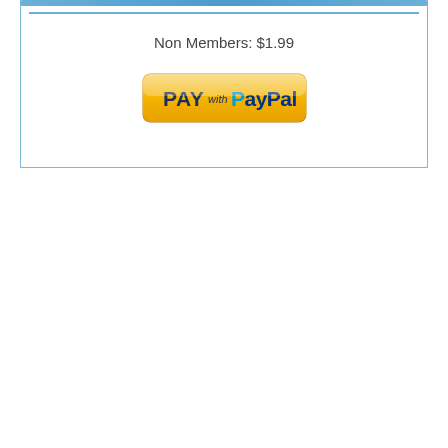Non Members: $1.99
[Figure (logo): PAY with PayPal button - yellow/gold rounded rectangle button with PayPal branding]